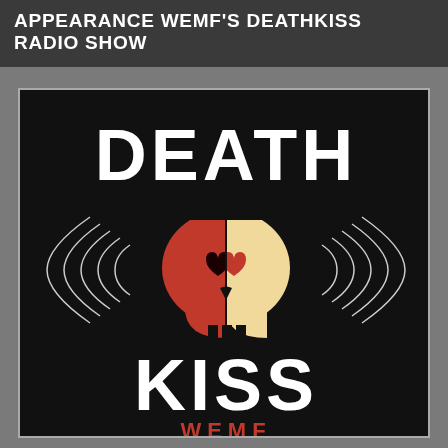APPEARANCE WEMF'S DEATHKISS RADIO SHOW
[Figure (logo): Death Kiss WEMF logo: black background with large white text 'DEATH' at top, 'KISS' at bottom, a split skull in the center (left half dark red/brown, right half cream/yellow) with heart-shaped eyes and sound wave arcs on either side, and 'WEMF' in red text below the skull]